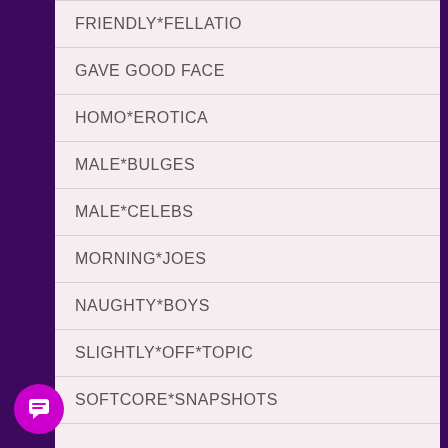FRIENDLY*FELLATIO
GAVE GOOD FACE
HOMO*EROTICA
MALE*BULGES
MALE*CELEBS
MORNING*JOES
NAUGHTY*BOYS
SLIGHTLY*OFF*TOPIC
SOFTCORE*SNAPSHOTS